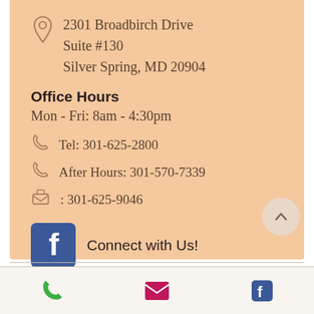2301 Broadbirch Drive
Suite #130
Silver Spring, MD 20904
Office Hours
Mon - Fri: 8am - 4:30pm
Tel: 301-625-2800
After Hours: 301-570-7339
: 301-625-9046
Connect with Us!